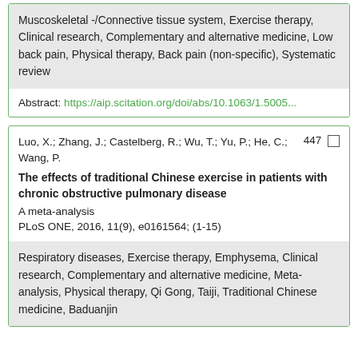Muscoskeletal -/Connective tissue system, Exercise therapy, Clinical research, Complementary and alternative medicine, Low back pain, Physical therapy, Back pain (non-specific), Systematic review
Abstract: https://aip.scitation.org/doi/abs/10.1063/1.5005...
Luo, X.; Zhang, J.; Castelberg, R.; Wu, T.; Yu, P.; He, C.; Wang, P.   447
The effects of traditional Chinese exercise in patients with chronic obstructive pulmonary disease
A meta-analysis
PLoS ONE, 2016, 11(9), e0161564; (1-15)
Respiratory diseases, Exercise therapy, Emphysema, Clinical research, Complementary and alternative medicine, Meta-analysis, Physical therapy, Qi Gong, Taiji, Traditional Chinese medicine, Baduanjin